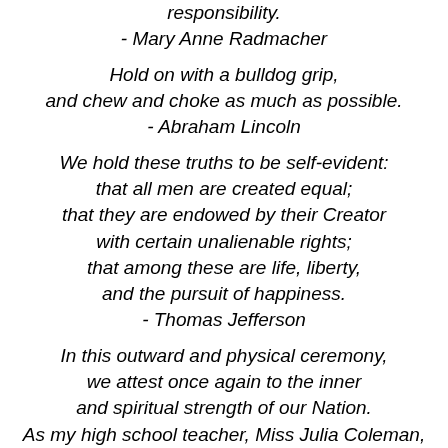responsibility.
- Mary Anne Radmacher
Hold on with a bulldog grip,
and chew and choke as much as possible.
- Abraham Lincoln
We hold these truths to be self-evident:
that all men are created equal;
that they are endowed by their Creator
with certain unalienable rights;
that among these are life, liberty,
and the pursuit of happiness.
- Thomas Jefferson
In this outward and physical ceremony,
we attest once again to the inner
and spiritual strength of our Nation.
As my high school teacher, Miss Julia Coleman, used to say:
"We must adjust to changing times,
and still hold to unchanging principles."
- Jimmy Carter
You may be deceived if you trust too much,